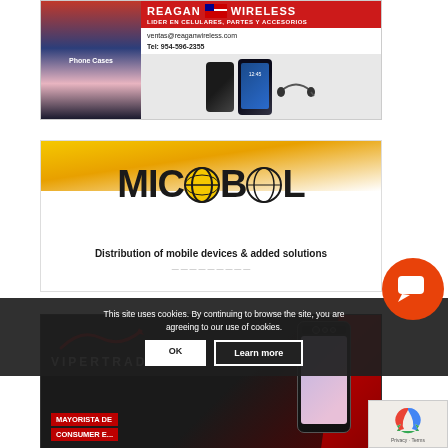[Figure (advertisement): Reagan Wireless advertisement — LIDER EN CELULARES, PARTES Y ACCESORIOS. ventas@reaganwireless.com Tel: 954-596-2355. Shows phone cases and Samsung smartphones.]
[Figure (advertisement): MICROBOL logo advertisement — Distribution of mobile devices & added solutions]
[Figure (advertisement): VIPERTRADE advertisement — MAYORISTA DE... CONSUMER E... Shows a smartphone. Dark background with red accent.]
This site uses cookies. By continuing to browse the site, you are agreeing to our use of cookies.
OK
Learn more